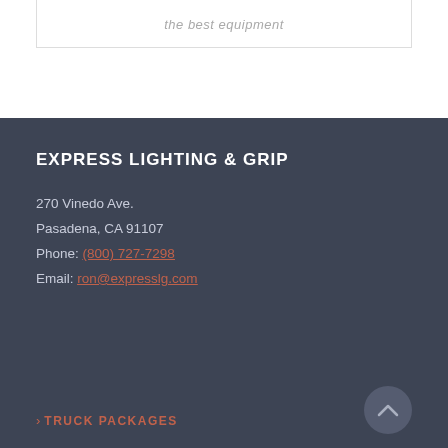the best equipment
EXPRESS LIGHTING & GRIP
270 Vinedo Ave.
Pasadena, CA 91107
Phone: (800) 727-7298
Email: ron@expresslg.com
> TRUCK PACKAGES